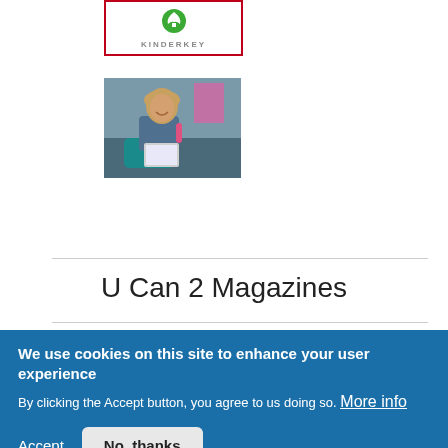[Figure (logo): Kinderkey logo: green tree/hands icon above text 'KINDERKEY' in gray letters, inside a red-bordered box]
[Figure (photo): Photo of a smiling woman with blonde hair, sitting at a desk, holding a pink object and a tablet/magazine, in a blue-green wheelchair]
U Can 2 Magazines
We use cookies on this site to enhance your user experience
By clicking the Accept button, you agree to us doing so. More info
Accept   No, thanks